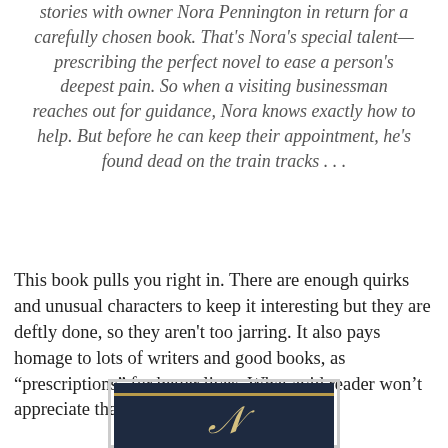stories with owner Nora Pennington in return for a carefully chosen book. That's Nora's special talent—prescribing the perfect novel to ease a person's deepest pain. So when a visiting businessman reaches out for guidance, Nora knows exactly how to help. But before he can keep their appointment, he's found dead on the train tracks . . .
This book pulls you right in. There are enough quirks and unusual characters to keep it interesting but they are deftly done, so they aren't too jarring. It also pays homage to lots of writers and good books, as “prescriptions” for better lives. What avid reader won’t appreciate that?
[Figure (photo): Partial view of a book cover with dark navy/blue background, a gold stripe near the top, and a decorative script letter in gold.]